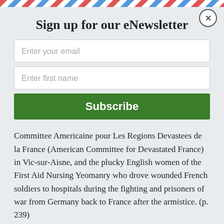Sign up for our eNewsletter
Enter your email
Enter first name
Subscribe
Committee Americaine pour Les Regions Devastees de la France (American Committee for Devastated France) in Vic-sur-Aisne, and the plucky English women of the First Aid Nursing Yeomanry who drove wounded French soldiers to hospitals during the fighting and prisoners of war from Germany back to France after the armistice. (p. 239)
Betty Adler’s dispatches to the Times were collected and published in the following year as a book titled